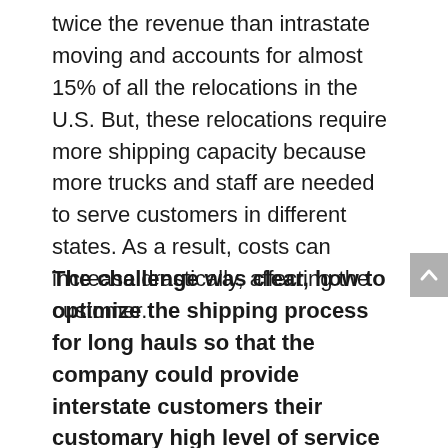twice the revenue than intrastate moving and accounts for almost 15% of all the relocations in the U.S. But, these relocations require more shipping capacity because more trucks and staff are needed to serve customers in different states. As a result, costs can increase drastically, affecting the customer.
The challenge was clear, how to optimize the shipping process for long hauls so that the company could provide interstate customers their customary high level of service at affordable rates without sacrificing